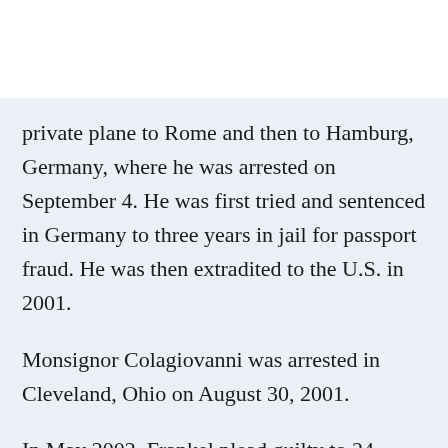private plane to Rome and then to Hamburg, Germany, where he was arrested on September 4. He was first tried and sentenced in Germany to three years in jail for passport fraud. He was then extradited to the U.S. in 2001.
Monsignor Colagiovanni was arrested in Cleveland, Ohio on August 30, 2001.
In May 2002, Frankel plead guilty to 24 federal counts of securities fraud, wire fraud, and related racketeering and conspiracy. Fifteen of Frankel's associates, including Colagiovanni and Sonia Schulte, also pleaded guilty to related crimes. But the time Frankel was sentenced...